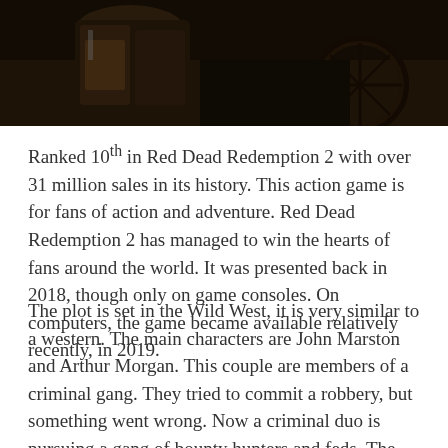[Figure (photo): A dark photograph showing a person in leather jacket, western-styled scene from Red Dead Redemption 2 game]
Ranked 10th in Red Dead Redemption 2 with over 31 million sales in its history. This action game is for fans of action and adventure. Red Dead Redemption 2 has managed to win the hearts of fans around the world. It was presented back in 2018, though only on game consoles. On computers, the game became available relatively recently, in 2019.
The plot is set in the Wild West, it is very similar to a western. The main characters are John Marston and Arthur Morgan. This couple are members of a criminal gang. They tried to commit a robbery, but something went wrong. Now a criminal duo is pursuing a gang of bounty hunters and feds. The game is open world, users will be able to independently explore the map, find interesting